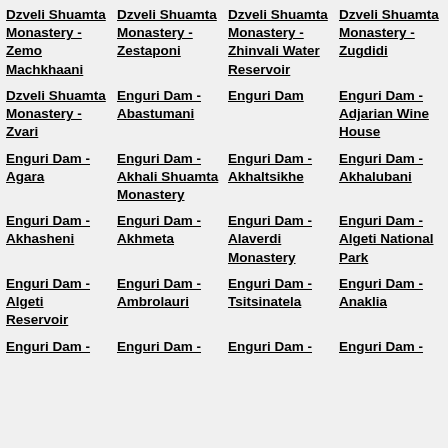Dzveli Shuamta Monastery - Zemo Machkhaani
Dzveli Shuamta Monastery - Zestaponi
Dzveli Shuamta Monastery - Zhinvali Water Reservoir
Dzveli Shuamta Monastery - Zugdidi
Dzveli Shuamta Monastery - Zvari
Enguri Dam - Abastumani
Enguri Dam
Enguri Dam - Adjarian Wine House
Enguri Dam - Agara
Enguri Dam - Akhali Shuamta Monastery
Enguri Dam - Akhaltsikhe
Enguri Dam - Akhalubani
Enguri Dam - Akhasheni
Enguri Dam - Akhmeta
Enguri Dam - Alaverdi Monastery
Enguri Dam - Algeti National Park
Enguri Dam - Algeti Reservoir
Enguri Dam - Ambrolauri
Enguri Dam - Tsitsinatela
Enguri Dam - Anaklia
Enguri Dam -
Enguri Dam -
Enguri Dam -
Enguri Dam -